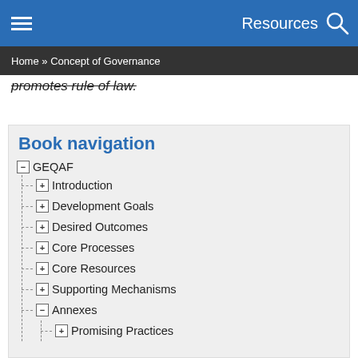Resources
Home » Concept of Governance
promotes rule of law.
Book navigation
GEQAF
Introduction
Development Goals
Desired Outcomes
Core Processes
Core Resources
Supporting Mechanisms
Annexes
Promising Practices